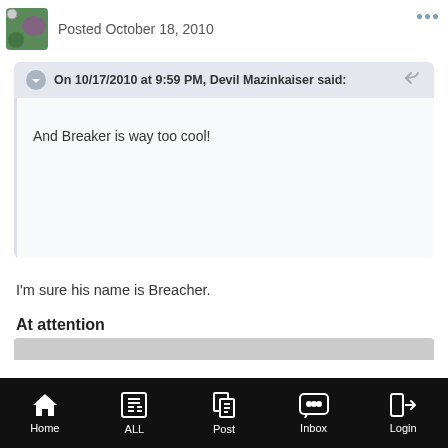Posted October 18, 2010
On 10/17/2010 at 9:59 PM, Devil Mazinkaiser said:
And Breaker is way too cool!
I'm sure his name is Breacher.
At attention
Home | ALL | Post | Inbox | Login